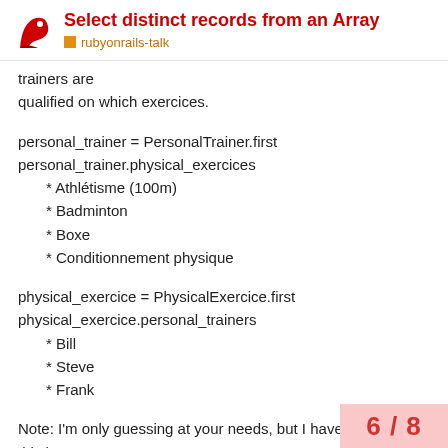Select distinct records from an Array
rubyonrails-talk
trainers are
qualified on which exercices.
personal_trainer = PersonalTrainer.first
personal_trainer.physical_exercices
* Athlétisme (100m)
* Badminton
* Boxe
* Conditionnement physique
physical_exercice = PhysicalExercice.first
physical_exercice.personal_trainers
* Bill
* Steve
* Frank
Note: I'm only guessing at your needs, but I have a feeling that this is
really what you're intending.
6 / 8